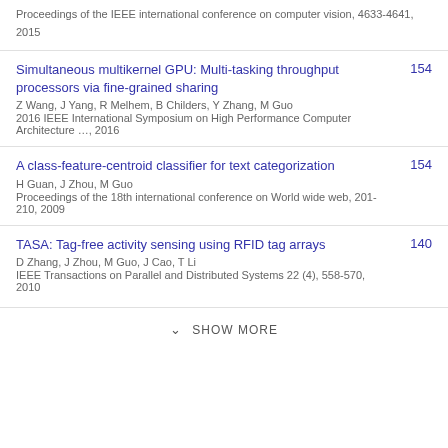Proceedings of the IEEE international conference on computer vision, 4633-4641, 2015
Simultaneous multikernel GPU: Multi-tasking throughput processors via fine-grained sharing
Z Wang, J Yang, R Melhem, B Childers, Y Zhang, M Guo
2016 IEEE International Symposium on High Performance Computer Architecture …, 2016
A class-feature-centroid classifier for text categorization
H Guan, J Zhou, M Guo
Proceedings of the 18th international conference on World wide web, 201-210, 2009
TASA: Tag-free activity sensing using RFID tag arrays
D Zhang, J Zhou, M Guo, J Cao, T Li
IEEE Transactions on Parallel and Distributed Systems 22 (4), 558-570, 2010
SHOW MORE